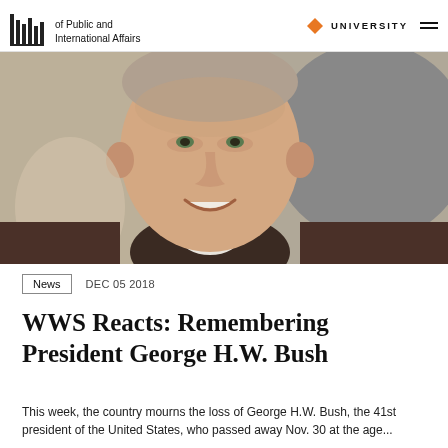of Public and International Affairs | UNIVERSITY
[Figure (photo): Portrait photo of President George H.W. Bush, a middle-aged man in a dark suit smiling, with a gray/beige background]
News   DEC 05 2018
WWS Reacts: Remembering President George H.W. Bush
This week, the country mourns the loss of George H.W. Bush, the 41st president of the United States, who passed away Nov. 30 at the age...